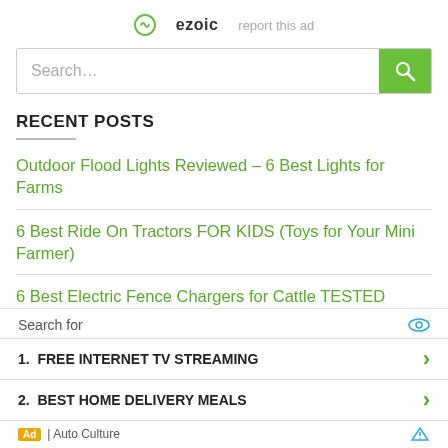[Figure (logo): Ezoic logo with circular icon and 'report this ad' link]
Search…
RECENT POSTS
Outdoor Flood Lights Reviewed – 6 Best Lights for Farms
6 Best Ride On Tractors FOR KIDS (Toys for Your Mini Farmer)
6 Best Electric Fence Chargers for Cattle TESTED
[Figure (screenshot): Ad overlay: Search for — 1. FREE INTERNET TV STREAMING — 2. BEST HOME DELIVERY MEALS — Ad | Auto Culture]